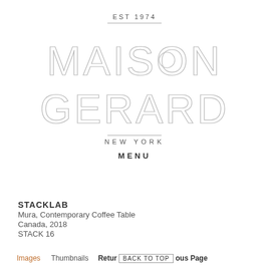[Figure (logo): Maison Gerard logo with EST 1974 above, large outline letters MAISON GERARD, NEW YORK below, and MENU text]
STACKLAB
Mura, Contemporary Coffee Table
Canada, 2018
STACK 16
Images   Thumbnails   Return [BACK TO TOP] ous Page